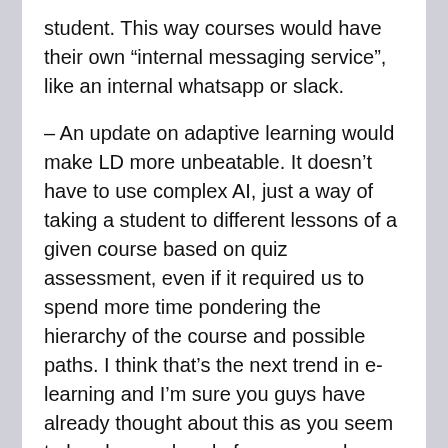student. This way courses would have their own “internal messaging service”, like an internal whatsapp or slack.
– An update on adaptive learning would make LD more unbeatable. It doesn’t have to use complex AI, just a way of taking a student to different lessons of a given course based on quiz assessment, even if it required us to spend more time pondering the hierarchy of the course and possible paths. I think that’s the next trend in e-learning and I’m sure you guys have already thought about this as you seem to be always ahead of everyone else. Just my two cents 🙂
Thanks again Justin!!